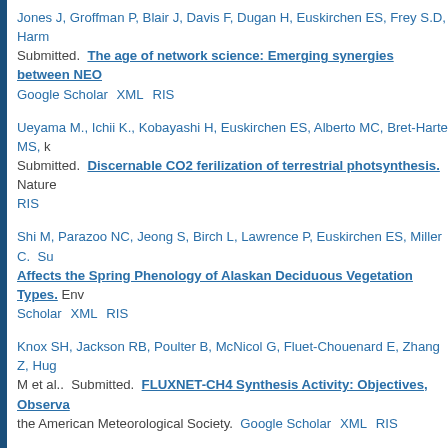Jones J, Groffman P, Blair J, Davis F, Dugan H, Euskirchen ES, Frey S.D, Harm... Submitted. The age of network science: Emerging synergies between NEO... Google Scholar XML RIS
Ueyama M., Ichii K., Kobayashi H, Euskirchen ES, Alberto MC, Bret-Harte MS, ... Submitted. Discernable CO2 ferilization of terrestrial photsynthesis. Nature... RIS
Shi M, Parazoo NC, Jeong S, Birch L, Lawrence P, Euskirchen ES, Miller C. Su... Affects the Spring Phenology of Alaskan Deciduous Vegetation Types. Env... Scholar XML RIS
Knox SH, Jackson RB, Poulter B, McNicol G, Fluet-Chouenard E, Zhang Z, Hug... M et al.. Submitted. FLUXNET-CH4 Synthesis Activity: Objectives, Observa... the American Meteorological Society. Google Scholar XML RIS
Peltola O, Vesala T, Gao Y, Raty O, Alekseychik P, Aurela M, Choinicki B, Desai... Submitted. Monthly Gridded Data Product of Northern Wetland Methane Em... Covariance Observations. Earth System Science Data. Google Scholar XML...
In Press
Euskirchen ES, Breen A.L, Timm K, Gray S, Rupp TS, Martin P, Reynold J, Sess... Press. Co-production of knowledge: Developing the Integrated Ecosystem... decisions in Arctic Alaska.. Frontiers in Ecology and the Environment. Google...